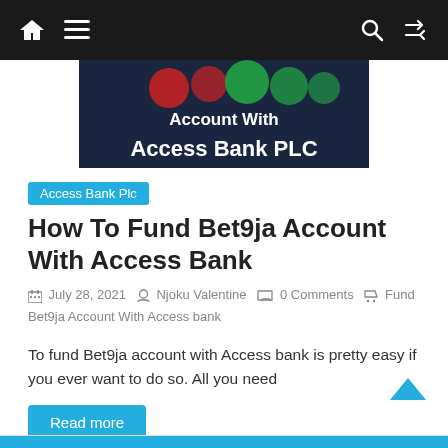Navigation bar with home, menu, search, and shuffle icons
[Figure (screenshot): Bet9ja Account With Access Bank PLC banner image with dark background and white bold text]
Access Bank Plc
How To Fund Bet9ja Account With Access Bank
July 28, 2021  Njoku Valentine  0 Comments  Fund Bet9ja Account With Access bank
To fund Bet9ja account with Access bank is pretty easy if you ever want to do so. All you need
Read more